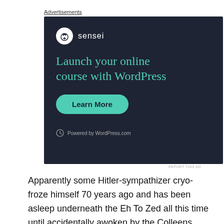Advertisements
[Figure (illustration): Sensei advertisement banner with dark background. Shows Sensei logo (tree icon in white circle) and brand name, headline 'Launch your online course with WordPress' in teal, a teal 'Learn More' button, and 'Powered by WordPress.com' footer.]
REPORT THIS AD
Apparently some Hitler-sympathizer cryo-froze himself 70 years ago and has been asleep underneath the Eh To Zed all this time until accidentally awoken by the Colleens, and now the little Bratzis are on the loose and killing everyone, even though they're supposed to be targeting only art critics, who hurt this guy's feelings over half a decade ago. Or something